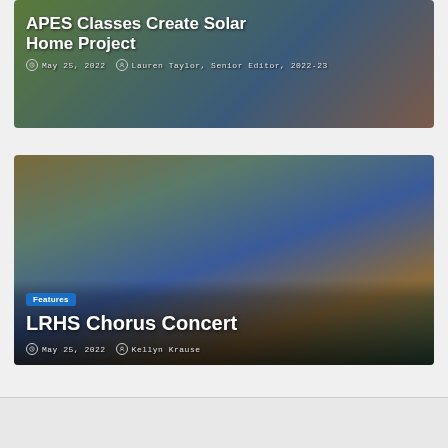[Figure (photo): Photo card showing APES Classes Create Solar Home Project article with date May 25, 2022 and author Lauren Taylor, Senior Editor, 2022-23]
APES Classes Create Solar Home Project
May 25, 2022   Lauren Taylor, Senior Editor, 2022-23
[Figure (photo): Group photo of LRHS Chorus Concert with students posing outdoors at what appears to be a festival or outdoor event. Features badge displayed.]
LRHS Chorus Concert
May 25, 2022   Kellyn Krause